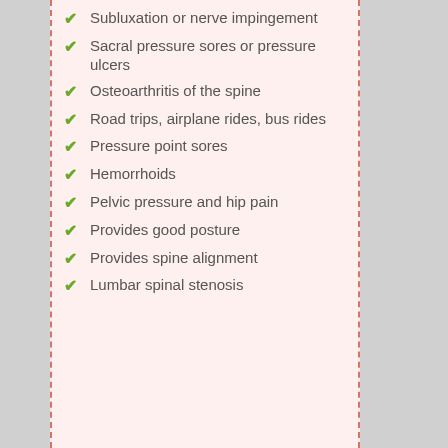Subluxation or nerve impingement
Sacral pressure sores or pressure ulcers
Osteoarthritis of the spine
Road trips, airplane rides, bus rides
Pressure point sores
Hemorrhoids
Pelvic pressure and hip pain
Provides good posture
Provides spine alignment
Lumbar spinal stenosis